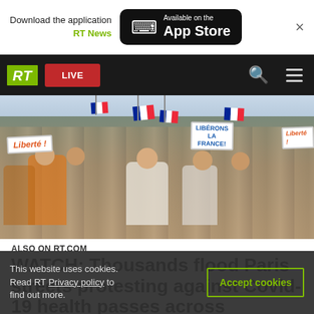Download the application RT News | Available on the App Store
[Figure (screenshot): RT News mobile app navigation bar with RT logo (green), LIVE button (red), search icon, and hamburger menu on dark background]
[Figure (photo): Crowd of protesters in Paris holding French flags and signs reading 'Liberté !' and 'LIBÉRONS LA FRANCE!']
ALSO ON RT.COM
WATCH: Thousands flood Paris streets protesting against Covid-19 health passes across
This website uses cookies. Read RT Privacy policy to find out more.
Accept cookies